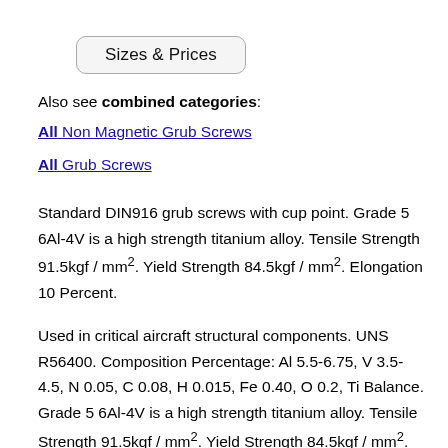Sizes & Prices
Also see combined categories:
All Non Magnetic Grub Screws
All Grub Screws
Standard DIN916 grub screws with cup point. Grade 5 6Al-4V is a high strength titanium alloy. Tensile Strength 91.5kgf / mm2. Yield Strength 84.5kgf / mm2. Elongation 10 Percent.
Used in critical aircraft structural components. UNS R56400. Composition Percentage: Al 5.5-6.75, V 3.5-4.5, N 0.05, C 0.08, H 0.015, Fe 0.40, O 0.2, Ti Balance. Grade 5 6Al-4V is a high strength titanium alloy. Tensile Strength 91.5kgf / mm2. Yield Strength 84.5kgf / mm2. Elongation 10 Percent.